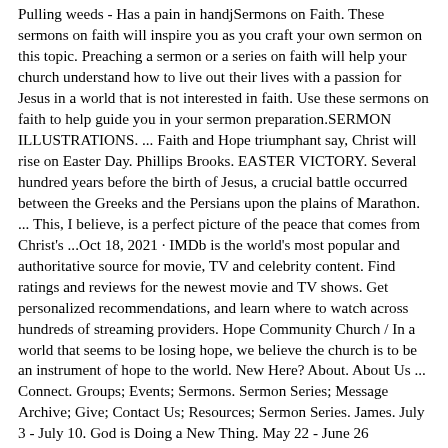Pulling weeds - Has a pain in handjSermons on Faith. These sermons on faith will inspire you as you craft your own sermon on this topic. Preaching a sermon or a series on faith will help your church understand how to live out their lives with a passion for Jesus in a world that is not interested in faith. Use these sermons on faith to help guide you in your sermon preparation.SERMON ILLUSTRATIONS. ... Faith and Hope triumphant say, Christ will rise on Easter Day. Phillips Brooks. EASTER VICTORY. Several hundred years before the birth of Jesus, a crucial battle occurred between the Greeks and the Persians upon the plains of Marathon. ... This, I believe, is a perfect picture of the peace that comes from Christ's ...Oct 18, 2021 · IMDb is the world's most popular and authoritative source for movie, TV and celebrity content. Find ratings and reviews for the newest movie and TV shows. Get personalized recommendations, and learn where to watch across hundreds of streaming providers. Hope Community Church / In a world that seems to be losing hope, we believe the church is to be an instrument of hope to the world. New Here? About. About Us ... Connect. Groups; Events; Sermons. Sermon Series; Message Archive; Give; Contact Us; Resources; Sermon Series. James. July 3 - July 10. God is Doing a New Thing. May 22 - June 26 ...Matthew 21:22. Verse Concepts. And all things you ask in prayer, believing, you will receive.". John 20:31. Verse Concepts. but these have been written so that you may believe that Jesus is the Christ, the Son of God; and that believing you may have life in His name. Mark 11:24. Verse Concepts. James. Believe. James ...